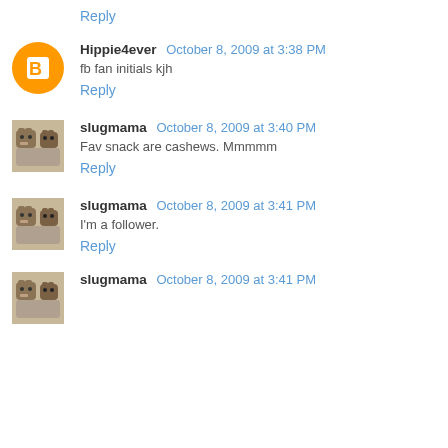Reply
[Figure (illustration): Blogger orange circle avatar with white B logo]
Hippie4ever  October 8, 2009 at 3:38 PM
fb fan initials kjh
Reply
[Figure (photo): Dog avatar photo - two dogs]
slugmama  October 8, 2009 at 3:40 PM
Fav snack are cashews. Mmmmm
Reply
[Figure (photo): Dog avatar photo - two dogs]
slugmama  October 8, 2009 at 3:41 PM
I'm a follower.
Reply
[Figure (photo): Dog avatar photo - two dogs]
slugmama  October 8, 2009 at 3:41 PM